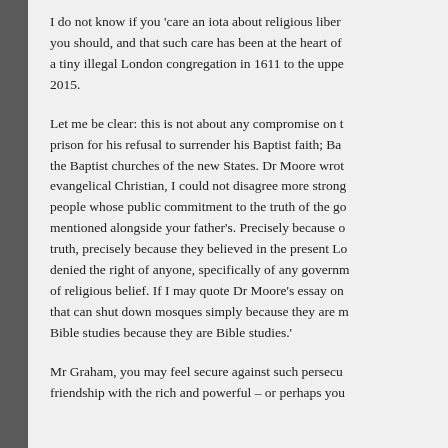I do not know if you 'care an iota about religious liber… you should, and that such care has been at the heart of… a tiny illegal London congregation in 1611 to the uppe… 2015.
Let me be clear: this is not about any compromise on t… prison for his refusal to surrender his Baptist faith; Ba… the Baptist churches of the new States. Dr Moore wrot… evangelical Christian, I could not disagree more strong… people whose public commitment to the truth of the go… mentioned alongside your father's. Precisely because o… truth, precisely because they believed in the present Lo… denied the right of anyone, specifically of any governm… of religious belief. If I may quote Dr Moore's essay on… that can shut down mosques simply because they are m… Bible studies because they are Bible studies.'
Mr Graham, you may feel secure against such persecu… friendship with the rich and powerful – or perhaps you…